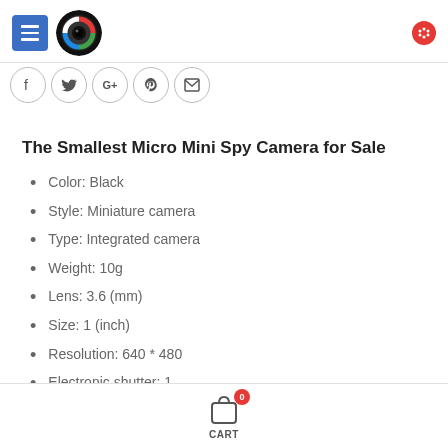Navigation header with menu button and logo
[Figure (logo): South Africa photography shop logo - camera lens with South African flag colors]
[Figure (logo): Red circular cart/notification icon top right]
[Figure (infographic): Social sharing icons row: Facebook, Twitter, Google+, Pinterest, Email]
The Smallest Micro Mini Spy Camera for Sale
Color: Black
Style: Miniature camera
Type: Integrated camera
Weight: 10g
Lens: 3.6 (mm)
Size: 1 (inch)
Resolution: 640 * 480
Electronic shutter: 1
Minimum illumination: 0.001 (Lux)
CART 0